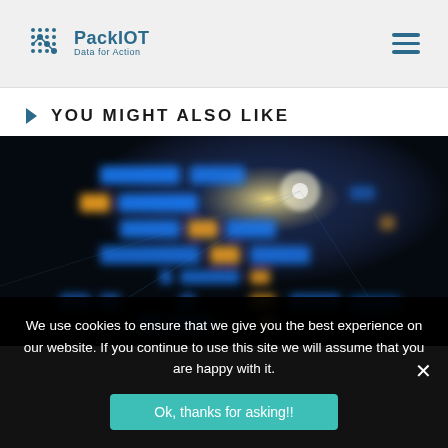PackIOT Data for Action
YOU MIGHT ALSO LIKE
[Figure (photo): Blurred image of illuminated blue and yellow LED or screen display panels arranged in a pattern against a dark background with light beams.]
We use cookies to ensure that we give you the best experience on our website. If you continue to use this site we will assume that you are happy with it.
Ok, thanks for asking!!